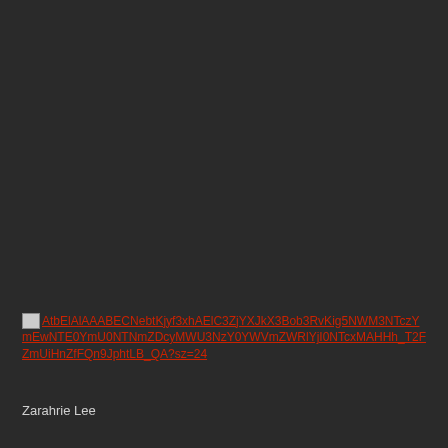[broken image] AtbElAlAAABECNebtKjyf3xhAElC3ZjYXJkX3Bob3RvKig5NWM3NTczYmEwNTE0YmU0NTNmZDcyMWU3NzY0YWVmZWRlYjI0NTcxMAHHh_T2FZmUiHnZfFQn9JphtLB_QA?sz=24
Zarahrie Lee